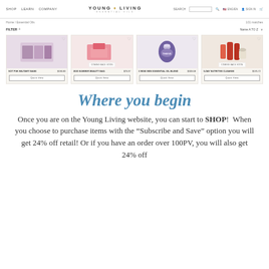Young Living Essential Oils - SHOP | LEARN | COMPANY
Home / Essential Oils  |  101 matches  |  Name A TO Z
FILTER +
[Figure (screenshot): Product grid showing 4 items: SOT PSK MILITARY BASE $190.00, 2020 SUMMER BEAUTY BAG $73.37, 3 WISE MEN ESSENTIAL OIL BLEND $103.68, 5-DAY NUTRITIVE CLEANSE $576.72. Second and fourth items show COMING BACK SOON badges. Each product has a Quick View button.]
Where you begin
Once you are on the Young Living website, you can start to SHOP!  When you choose to purchase items with the "Subscribe and Save" option you will get 24% off retail! Or if you have an order over 100PV, you will also get 24% off